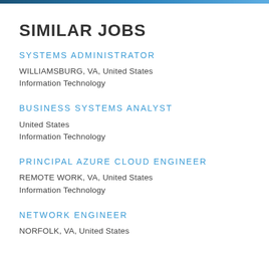SIMILAR JOBS
SYSTEMS ADMINISTRATOR
WILLIAMSBURG, VA, United States
Information Technology
BUSINESS SYSTEMS ANALYST
United States
Information Technology
PRINCIPAL AZURE CLOUD ENGINEER
REMOTE WORK, VA, United States
Information Technology
NETWORK ENGINEER
NORFOLK, VA, United States